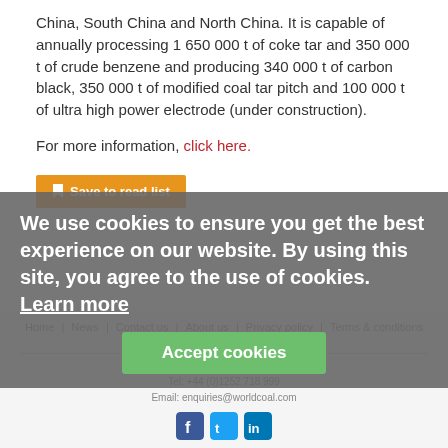China, South China and North China. It is capable of annually processing 1 650 000 t of coke tar and 350 000 t of crude benzene and producing 340 000 t of carbon black, 350 000 t of modified coal tar pitch and 100 000 t of ultra high power electrode (under construction).
For more information, click here.
Save to read list
Home  News  Contact us  About us  Privacy policy  Terms & conditions  Security  Website cookies
Copyright © 2022 Palladian Publications Ltd.
Tel: +44 (0)1252 718 999
Email: enquiries@worldcoal.com
We use cookies to ensure you get the best experience on our website. By using this site, you agree to the use of cookies. Learn more
Accept cookies